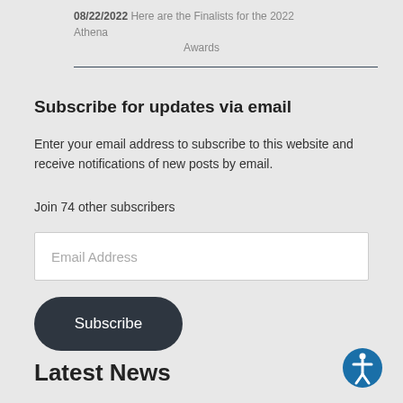08/22/2022 Here are the Finalists for the 2022 Athena Awards
Subscribe for updates via email
Enter your email address to subscribe to this website and receive notifications of new posts by email.
Join 74 other subscribers
Email Address
Subscribe
Latest News